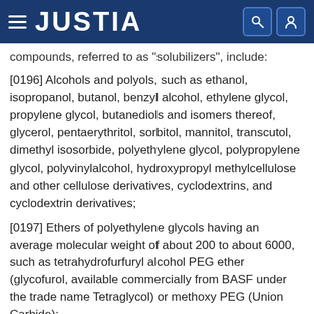JUSTIA
compounds, referred to as "solubilizers", include:
[0196] Alcohols and polyols, such as ethanol, isopropanol, butanol, benzyl alcohol, ethylene glycol, propylene glycol, butanediols and isomers thereof, glycerol, pentaerythritol, sorbitol, mannitol, transcutol, dimethyl isosorbide, polyethylene glycol, polypropylene glycol, polyvinylalcohol, hydroxypropyl methylcellulose and other cellulose derivatives, cyclodextrins, and cyclodextrin derivatives;
[0197] Ethers of polyethylene glycols having an average molecular weight of about 200 to about 6000, such as tetrahydrofurfuryl alcohol PEG ether (glycofurol, available commercially from BASF under the trade name Tetraglycol) or methoxy PEG (Union Carbide);
[0198] Amides, such as 2-pyrrolidone, 2-piperidone,